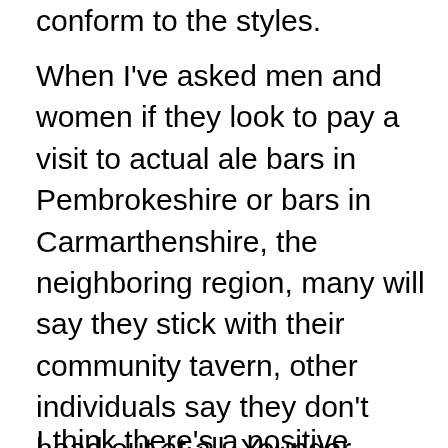conform to the styles.
When I've asked men and women if they look to pay a visit to actual ale bars in Pembrokeshire or bars in Carmarthenshire, the neighboring region, many will say they stick with their community tavern, other individuals say they don't head out at all. Younger individuals tend to need a cause to look out for, similar to a certain celebration or occasion, and also they often steer to the choices of the top streets club compared to the traditional nearby club.
I think there's a positive change here on many